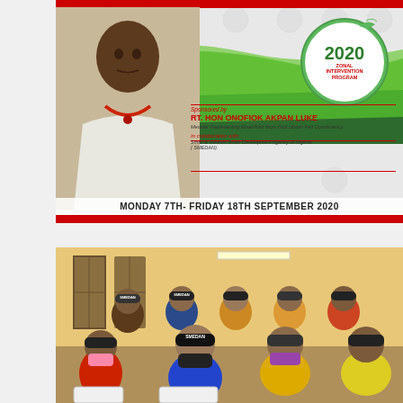[Figure (photo): Event flyer for 2020 Zonal Intervention Program sponsored by RT. HON ONOFIOK AKPAN LUKE, Member Representing Etnan/Nsit Ibom/Nsit Ubium Federal Constituency. Features photo of a man in white traditional attire with beaded necklace, green swoosh design, circular logo, and date Monday 7th – Friday 18th September 2020.]
[Figure (photo): Photograph of a group of women and young people seated in rows of white plastic chairs in a hall with wooden windows, wearing caps with logos and face masks during the 2020 Zonal Intervention Program training session.]